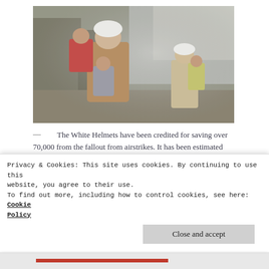[Figure (photo): Two White Helmet rescue workers carrying children through rubble and dust/smoke from airstrikes in Syria. The foreground figure wears a white helmet and holds two children in red and grey clothing. A second rescue worker in background also carries a child.]
— The White Helmets have been credited for saving over 70,000 from the fallout from airstrikes. It has been estimated that since the Russian bombings began in late '15, over 150
Privacy & Cookies: This site uses cookies. By continuing to use this website, you agree to their use.
To find out more, including how to control cookies, see here: Cookie Policy